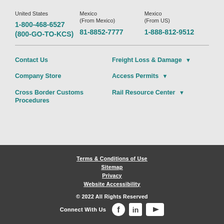United States
Mexico (From Mexico)
Mexico (From US)
1-800-468-6527 (800-GO-TO-KCS)
81-8852-7777
1-888-812-9512
Contact Us
Company Store
Cross Border Customs Procedures
Freight Loss & Damage
Access Permits
Rail Resource Center
Terms & Conditions of Use | Sitemap | Privacy | Website Accessibility | © 2022 All Rights Reserved | Connect With Us